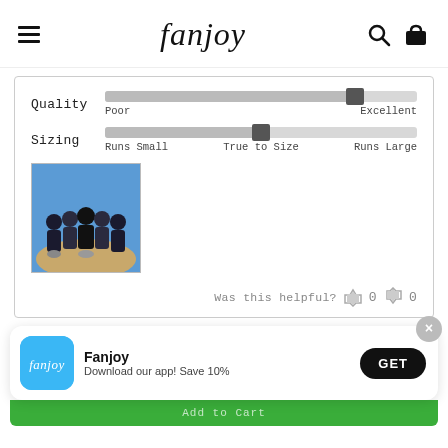fanjoy
[Figure (infographic): Review quality slider showing position near Excellent end, with Poor and Excellent labels]
[Figure (infographic): Review sizing slider showing position at True to Size, with Runs Small, True to Size, Runs Large labels]
[Figure (photo): Group photo of people sitting outdoors with blue sky background]
Was this helpful? 0 0
Fanjoy
Download our app! Save 10%
GET
Add to Cart